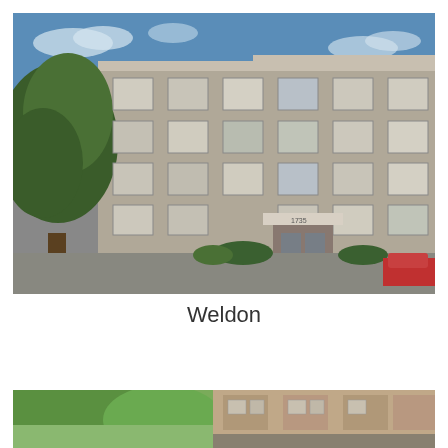[Figure (photo): Exterior photograph of the Weldon apartment building — a multi-story grey concrete residential building with many square windows, an entrance canopy with glass doors, and a large tree on the left side. Blue sky with light clouds visible above.]
Weldon
[Figure (photo): Partial view of another building exterior, partially cropped at the bottom of the page.]